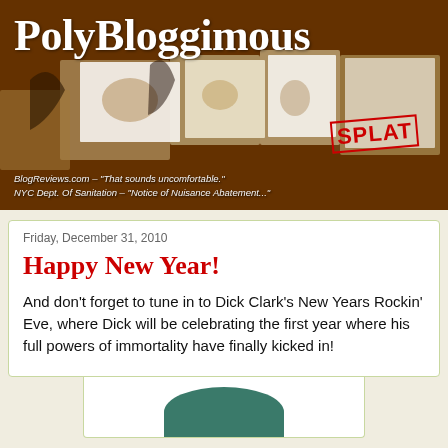[Figure (illustration): PolyBloggimous blog header banner with dark brown/reddish background, torn paper collage effect, white text logo 'PolyBloggimous', red 'SPLAT' text with border, and italic quote captions at bottom left.]
BlogReviews.com – "That sounds uncomfortable."
NYC Dept. Of Sanitation – "Notice of Nuisance Abatement..."
Friday, December 31, 2010
Happy New Year!
And don't forget to tune in to Dick Clark's New Years Rockin' Eve, where Dick will be celebrating the first year where his full powers of immortality have finally kicked in!
[Figure (illustration): Partial image showing top of a teal/green hat, cropped at bottom of page.]